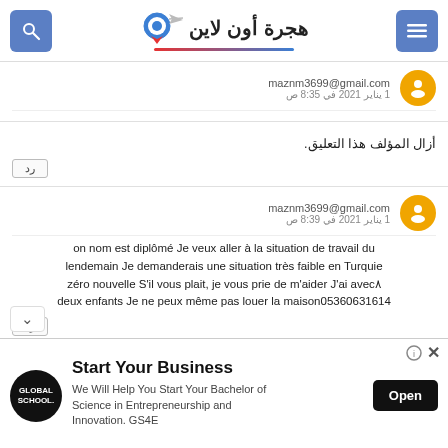هجرة أون لاين
maznm3699@gmail.com
1 يناير 2021 في 8:35 ص
أزال المؤلف هذا التعليق.
رد
maznm3699@gmail.com
1 يناير 2021 في 8:39 ص
on nom est diplômé Je veux aller à la situation de travail du lendemain Je demanderais une situation très faible en Turquie zéro nouvelle S'il vous plait, je vous prie de m'aider J'ai avec٨ deux enfants Je ne peux même pas louer la maison05360631614
رد
[Figure (infographic): Global School advertisement banner: Start Your Business - We Will Help You Start Your Bachelor of Science in Entrepreneurship and Innovation. GS4E - with Open button]